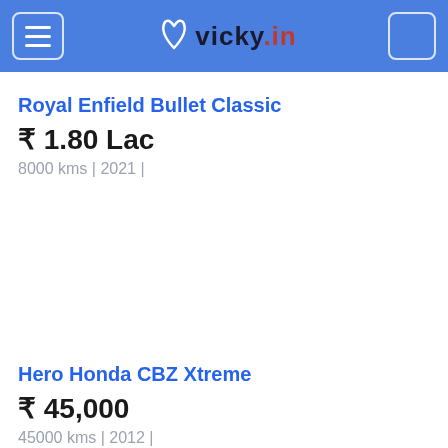vicky.in
Royal Enfield Bullet Classic
₹ 1.80 Lac
8000 kms | 2021 |
Hero Honda CBZ Xtreme
₹ 45,000
45000 kms | 2012 |